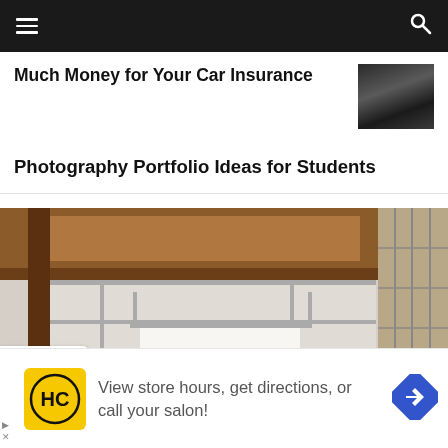Navigation bar with hamburger menu and search icon
Much Money for Your Car Insurance
Photography Portfolio Ideas for Students
[Figure (photo): Interior photograph of a room with wooden beam ceiling, white walls, pipe fixtures, and large windows with blinds, with a white backdrop panel hanging from pipes]
View store hours, get directions, or call your salon!